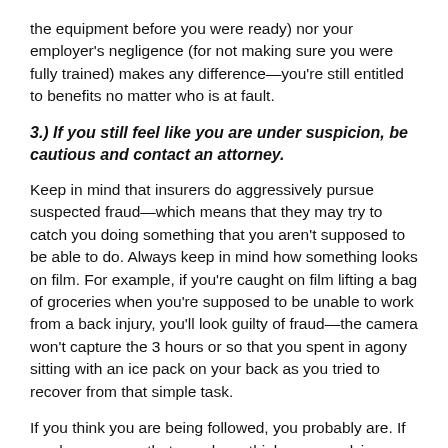the equipment before you were ready) nor your employer's negligence (for not making sure you were fully trained) makes any difference—you're still entitled to benefits no matter who is at fault.
3.) If you still feel like you are under suspicion, be cautious and contact an attorney.
Keep in mind that insurers do aggressively pursue suspected fraud—which means that they may try to catch you doing something that you aren't supposed to be able to do. Always keep in mind how something looks on film. For example, if you're caught on film lifting a bag of groceries when you're supposed to be unable to work from a back injury, you'll look guilty of fraud—the camera won't capture the 3 hours or so that you spent in agony sitting with an ice pack on your back as you tried to recover from that simple task.
If you think you are being followed, you probably are. If you hear rumors that your boss thinks you are lying about your injuries, don't dismiss them. Assume that